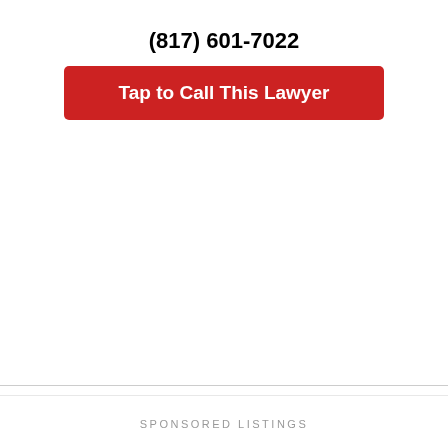(817) 601-7022
Tap to Call This Lawyer
SPONSORED LISTINGS